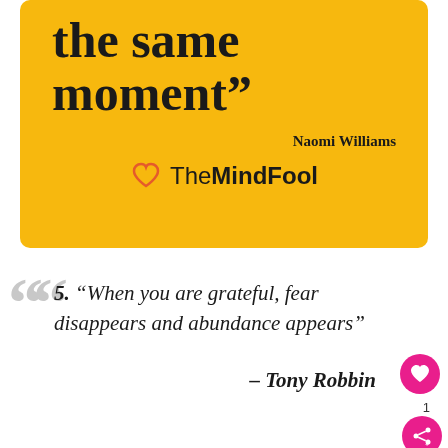the same moment”
Naomi Williams
[Figure (logo): TheMindFool logo with orange heart icon and text]
5. “When you are grateful, fear disappears and abundance appears”
– Tony Robbins
[Figure (other): Advertisement bar: Pack the Perfect School Lunch - Wegmans]
Pack the Perfect School Lunch
Wegmans